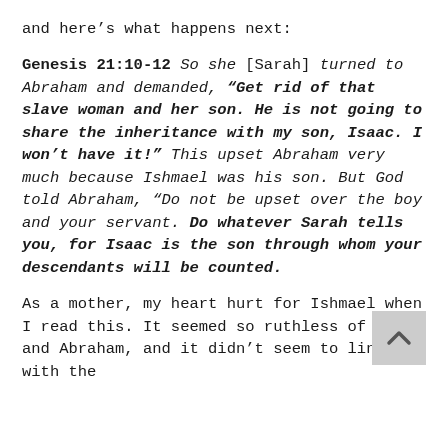and here's what happens next:
Genesis 21:10-12 So she [Sarah] turned to Abraham and demanded, "Get rid of that slave woman and her son. He is not going to share the inheritance with my son, Isaac. I won't have it!" This upset Abraham very much because Ishmael was his son. But God told Abraham, "Do not be upset over the boy and your servant. Do whatever Sarah tells you, for Isaac is the son through whom your descendants will be counted.
As a mother, my heart hurt for Ishmael when I read this. It seemed so ruthless of Sarah and Abraham, and it didn't seem to line up with the